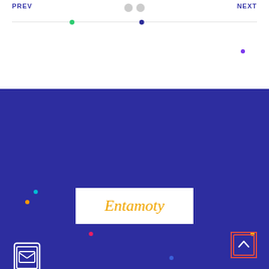PREV | NEXT
[Figure (illustration): Navigation header with PREV and NEXT labels, two gray dots in center, a horizontal divider line with a green dot and navy dot on it, and a purple dot to the right.]
[Figure (logo): Entamoty logo in orange italic text on white background box, on dark blue background with colorful decorative dots.]
[Figure (illustration): White outline icon of a tablet/phone with envelope symbol representing contact/messaging.]
(+233) 570570892
barimah@entamoty.net
[Figure (illustration): White outline location pin / map marker icon.]
[Figure (illustration): Back-to-top button: square with orange/red border and upward chevron arrow inside.]